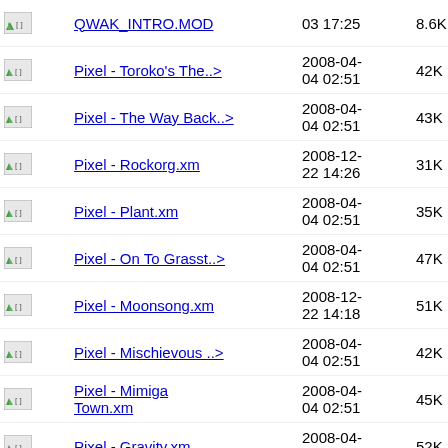QWAK_INTRO.MOD | 03 17:25 | 8.6K
Pixel - Toroko's The..> | 2008-04-04 02:51 | 42K
Pixel - The Way Back..> | 2008-04-04 02:51 | 43K
Pixel - Rockorg.xm | 2008-12-22 14:26 | 31K
Pixel - Plant.xm | 2008-04-04 02:51 | 35K
Pixel - On To Grasst..> | 2008-04-04 02:51 | 47K
Pixel - Moonsong.xm | 2008-12-22 14:18 | 51K
Pixel - Mischievous ..> | 2008-04-04 02:51 | 42K
Pixel - Mimiga Town.xm | 2008-04-04 02:51 | 45K
Pixel - Gravity.xm | 2008-04-04 02:51 | 52K
Pixel - Gestation.xm | 2008-04-04 02:51 | 48K
Pixel - Cave Story.xm | 2008-04-02:51 | 50K